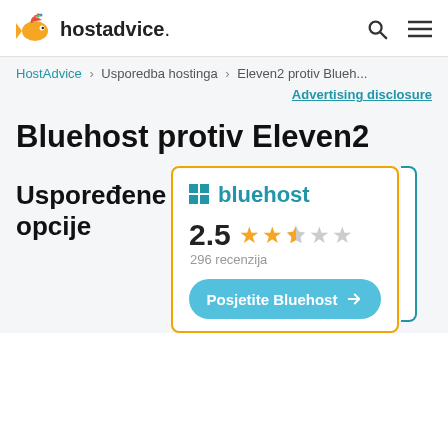hostadvice.
HostAdvice > Usporedba hostinga > Eleven2 protiv Blueh...
Advertising disclosure
Bluehost protiv Eleven2
Uspoređene opcije
[Figure (logo): Bluehost logo with grid icon and blue text]
2.5  296 recenzija
Posjetite Bluehost